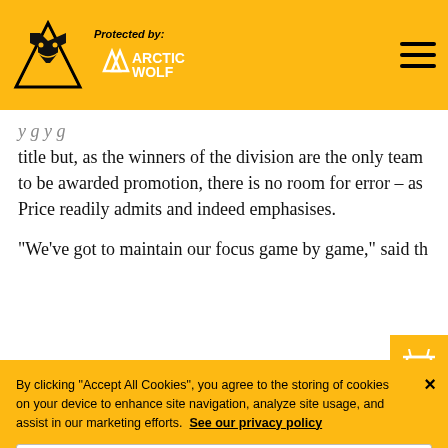Protected by: ARCTIC WOLF
title but, as the winners of the division are the only team to be awarded promotion, there is no room for error – as Price readily admits and indeed emphasises.
"We've got to maintain our focus game by game," said th
By clicking "Accept All Cookies", you agree to the storing of cookies on your device to enhance site navigation, analyze site usage, and assist in our marketing efforts. See our privacy policy
Cookies Settings
Reject All
Accept All Cookies